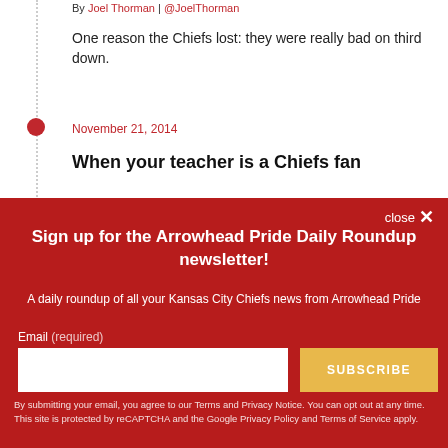By Joel Thorman | @JoelThorman
One reason the Chiefs lost: they were really bad on third down.
November 21, 2014
When your teacher is a Chiefs fan
close ✕
Sign up for the Arrowhead Pride Daily Roundup newsletter!
A daily roundup of all your Kansas City Chiefs news from Arrowhead Pride
Email (required)
SUBSCRIBE
By submitting your email, you agree to our Terms and Privacy Notice. You can opt out at any time. This site is protected by reCAPTCHA and the Google Privacy Policy and Terms of Service apply.